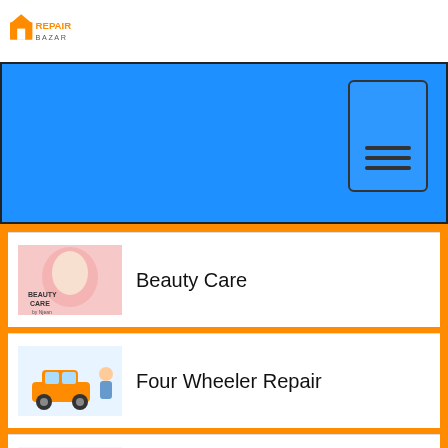Repair Bazar logo
[Figure (screenshot): Blue banner with mobile phone icon showing three horizontal lines]
[Figure (illustration): Beauty Care category image showing a woman with facial treatment, text BEAUTY CARE]
Beauty Care
[Figure (illustration): Four Wheeler Repair category image showing orange car with person]
Four Wheeler Repair
[Figure (illustration): Mobile Repair category image showing circle of mobile phones]
Mobile Repair